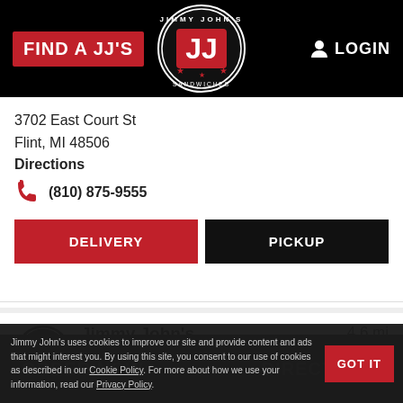FIND A JJ'S | LOGIN
3702 East Court St
Flint, MI 48506
Directions
(810) 875-9555
DELIVERY | PICKUP
Jimmy John's
Opening today at 10:30am
4.6 mi
3292 S Linden Rd
Flint, MI 48507
Directions
Jimmy John's uses cookies to improve our site and provide content and ads that might interest you. By using this site, you consent to our use of cookies as described in our Cookie Policy. For more about how we use your information, read our Privacy Policy.
GOT IT